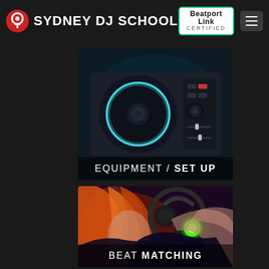SYDNEY DJ SCHOOL — Beatport Link CERTIFIED
[Figure (photo): DJ equipment / turntable controller with glowing ring, dark background]
EQUIPMENT / SET UP
[Figure (illustration): Anime-style illustration of a person DJing with headphones and glowing green headphone cup]
BEAT MATCHING